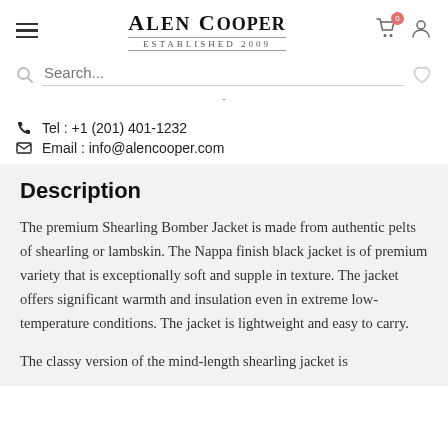Alen Cooper — Established 2009
Tel : +1 (201) 401-1232
Email : info@alencooper.com
Description
The premium Shearling Bomber Jacket is made from authentic pelts of shearling or lambskin. The Nappa finish black jacket is of premium variety that is exceptionally soft and supple in texture. The jacket offers significant warmth and insulation even in extreme low-temperature conditions. The jacket is lightweight and easy to carry.
The classy version of the mind-length shearling jacket is